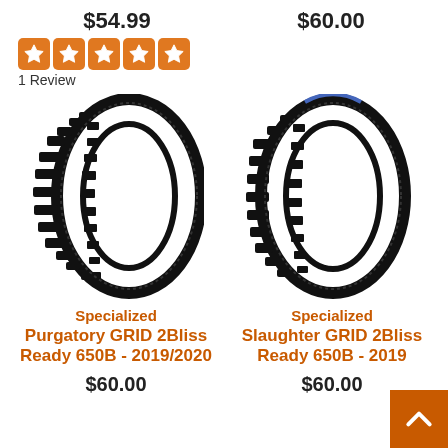$54.99
$60.00
[Figure (other): 5 orange star rating icons]
1 Review
[Figure (photo): Specialized Purgatory GRID 2Bliss Ready 650B mountain bike tire, black knobby tread]
Specialized
Purgatory GRID 2Bliss Ready 650B - 2019/2020
$60.00
[Figure (photo): Specialized Slaughter GRID 2Bliss Ready 650B mountain bike tire, black knobby tread]
Specialized
Slaughter GRID 2Bliss Ready 650B - 2019
$60.00